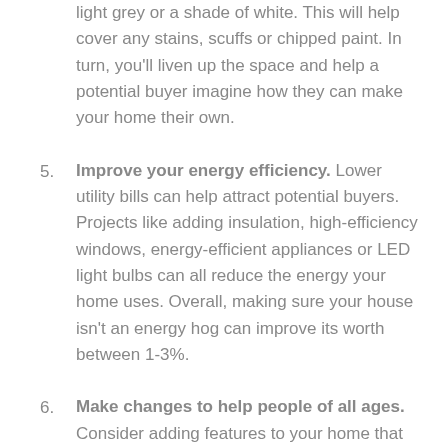light grey or a shade of white. This will help cover any stains, scuffs or chipped paint. In turn, you'll liven up the space and help a potential buyer imagine how they can make your home their own.
Improve your energy efficiency. Lower utility bills can help attract potential buyers. Projects like adding insulation, high-efficiency windows, energy-efficient appliances or LED light bulbs can all reduce the energy your home uses. Overall, making sure your house isn't an energy hog can improve its worth between 1-3%.
Make changes to help people of all ages. Consider adding features to your home that make it more accessible. That may include installing a walk-in shower or creating a master bedroom on the main